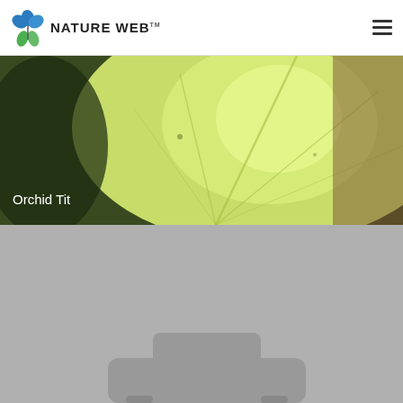NATURE WEB
[Figure (photo): Close-up macro photograph of a large green leaf with visible veins, light shining through, with dark background at edges. Text overlay reads 'Orchid Tit' in white.]
[Figure (photo): Gray placeholder image with a faint silhouette of a vehicle (camera/car shape) visible at the bottom center.]